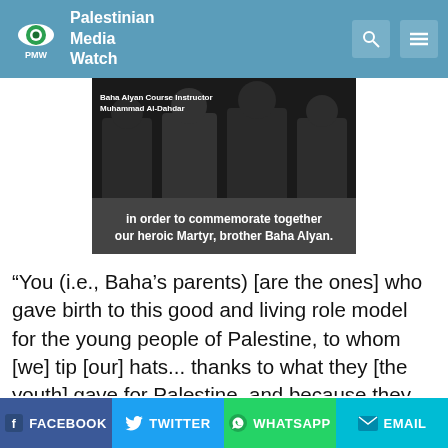Palestinian Media Watch
[Figure (screenshot): Video screenshot showing people seated at a table. White text overlay reads 'Baha Alyan Course Instructor Muhammad Al-Dahdar' at top left, and 'in order to commemorate together our heroic Martyr, brother Baha Alyan.' at bottom center.]
“You (i.e., Baha’s parents) [are the ones] who gave birth to this good and living role model for the young people of Palestine, to whom [we] tip [our] hats... thanks to what they [the youth] gave for Palestine, and because they sacrificed the most precious thing to them of all - which is life. They hated [and gave up] life for Palestine. They hated [and gave up] life because they wanted freedom and independence. I am happy to be with you at
FACEBOOK  TWITTER  WHATSAPP  EMAIL